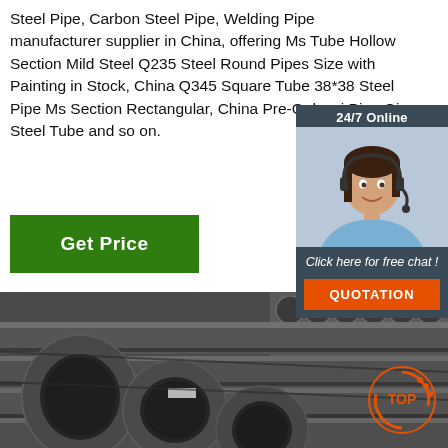Steel Pipe, Carbon Steel Pipe, Welding Pipe manufacturer supplier in China, offering Ms Tube Hollow Section Mild Steel Q235 Steel Round Pipes Size with Painting in Stock, China Q345 Square Tube 38*38 Steel Pipe Ms Section Rectangular, China Pre-Galvanized Pipe Gi Steel Tube and so on.
Get Price
[Figure (infographic): 24/7 Online chat widget with agent photo, 'Click here for free chat!', and QUOTATION button]
[Figure (photo): Photo of bundled dark steel pipes stacked horizontally, showing circular cross-sections in foreground]